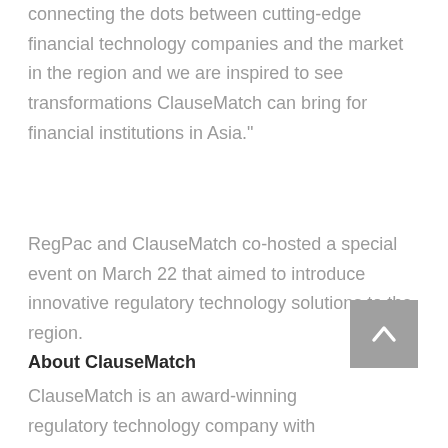connecting the dots between cutting-edge financial technology companies and the market in the region and we are inspired to see transformations ClauseMatch can bring for financial institutions in Asia."
RegPac and ClauseMatch co-hosted a special event on March 22 that aimed to introduce innovative regulatory technology solutions to the region.
About ClauseMatch
ClauseMatch is an award-winning regulatory technology company with unique SaaS offering, that enables financial institutions to streamline regulatory change management through